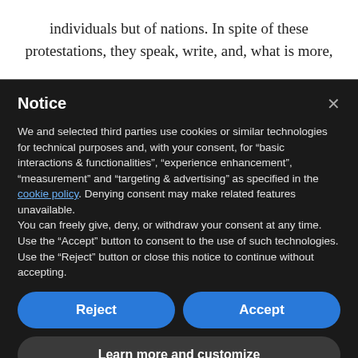individuals but of nations. In spite of these protestations, they speak, write, and, what is more,
Notice
We and selected third parties use cookies or similar technologies for technical purposes and, with your consent, for “basic interactions & functionalities”, “experience enhancement”, “measurement” and “targeting & advertising” as specified in the cookie policy. Denying consent may make related features unavailable.
You can freely give, deny, or withdraw your consent at any time.
Use the “Accept” button to consent to the use of such technologies. Use the “Reject” button or close this notice to continue without accepting.
Reject
Accept
Learn more and customize